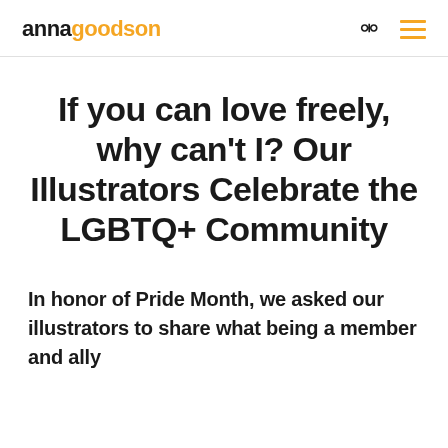annagoodson
If you can love freely, why can't I? Our Illustrators Celebrate the LGBTQ+ Community
In honor of Pride Month, we asked our illustrators to share what being a member and ally